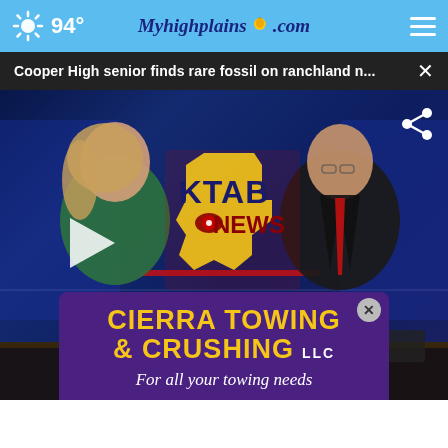94° Myhighplains.com
Cooper High senior finds rare fossil on ranchland n...
[Figure (screenshot): KTAB News broadcast screenshot showing two news anchors at a desk with KTAB News logo in center background. A female anchor in green dress on the left and a male anchor in dark suit with red tie on the right. A play button overlay appears in the lower left and a share icon in the upper right.]
CIERRA TOWING & CRUSHING LLC For all your towing needs